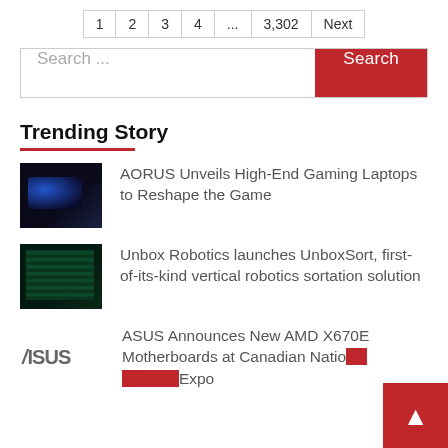1  2  3  4  ...  3,302  Next
Search ...
Trending Story
AORUS Unveils High-End Gaming Laptops to Reshape the Game
Unbox Robotics launches UnboxSort, first-of-its-kind vertical robotics sortation solution
ASUS Announces New AMD X670E Motherboards at Canadian National Expo